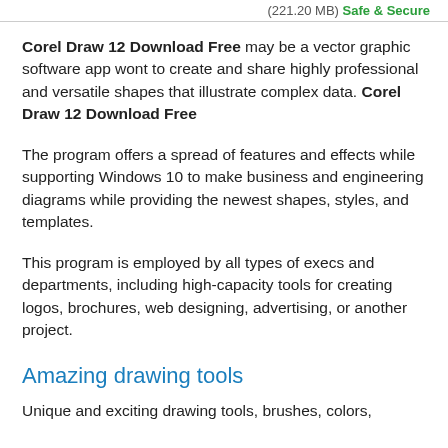(221.20 MB) Safe & Secure
Corel Draw 12 Download Free may be a vector graphic software app wont to create and share highly professional and versatile shapes that illustrate complex data. Corel Draw 12 Download Free
The program offers a spread of features and effects while supporting Windows 10 to make business and engineering diagrams while providing the newest shapes, styles, and templates.
This program is employed by all types of execs and departments, including high-capacity tools for creating logos, brochures, web designing, advertising, or another project.
Amazing drawing tools
Unique and exciting drawing tools, brushes, colors,